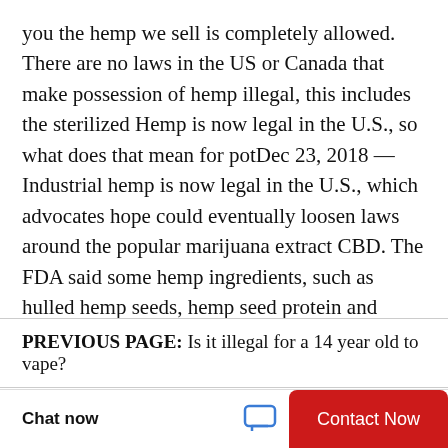you the hemp we sell is completely allowed. There are no laws in the US or Canada that make possession of hemp illegal, this includes the sterilized Hemp is now legal in the U.S., so what does that mean for potDec 23, 2018 — Industrial hemp is now legal in the U.S., which advocates hope could eventually loosen laws around the popular marijuana extract CBD. The FDA said some hemp ingredients, such as hulled hemp seeds, hemp seed protein and hemp seed oil, are safe in food and won't require additional approvals
PREVIOUS PAGE:  Is it illegal for a 14 year old to vape?
NEXT PAGE:  Is it legal to sell knock off brands?
Chat now
Contact Now